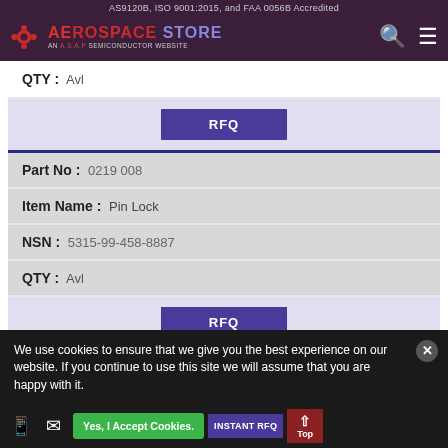AS9120B, ISO 9001:2015, and FAA 0056B Accredited — AEROSPACE STORE — AN A.S.A.P SEMICONDUCTOR WEBSITE
| Field | Value |
| --- | --- |
| QTY : | Avl |
| Part No : | 0219 008 |
| Item Name : | Pin Lock |
| NSN : | 5315-99-458-8887 |
| QTY : | Avl |
RFQ
RFQ
We use cookies to ensure that we give you the best experience on our website. If you continue to use this site we will assume that you are happy with it.
Yes, I Accept Cookies.
INSTANT RFQ
Top